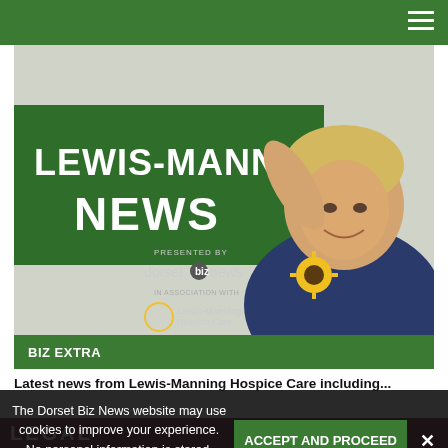[Figure (photo): A smiling woman in a dark navy uniform with a yellow sunflower brooch stands in front of a large green banner reading 'LEWIS-MANNING NEWS'. The banner also shows logos for 'dorset biz news' and 'Lewis-Manning Hospice Care'.]
BIZ EXTRA
Latest news from Lewis-Manning Hospice Care including...
The Dorset Biz News website may use cookies to improve your experience. No personal information is stored. Please read our Privacy Policy.
ACCEPT AND PROCEED
[Figure (photo): Partial view of a dark red/maroon banner with the word 'LEGAL' in large white letters.]